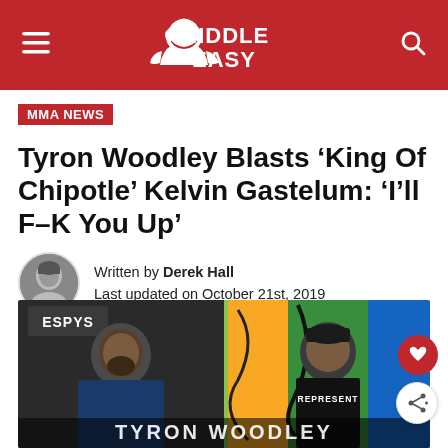MIDDLE EASY
MMA NEWS
Tyron Woodley Blasts ‘King Of Chipotle’ Kelvin Gastelum: ‘I’ll F–K You Up’
Written by Derek Hall
Last updated on October 21st, 2019
[Figure (photo): Side-by-side photo of Tyron Woodley at the ESPYs wearing a blue blazer and Kelvin Gastelum in a black Represent shirt in front of graffiti wall, with text overlay reading TYRON WOODLEY]